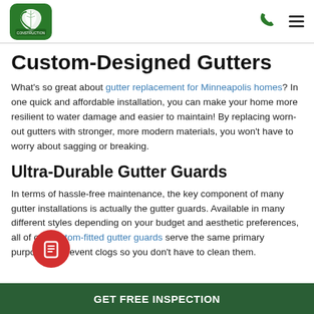Custom Construction logo, phone icon, menu icon
Custom-Designed Gutters
What's so great about gutter replacement for Minneapolis homes? In one quick and affordable installation, you can make your home more resilient to water damage and easier to maintain! By replacing worn-out gutters with stronger, more modern materials, you won't have to worry about sagging or breaking.
Ultra-Durable Gutter Guards
In terms of hassle-free maintenance, the key component of many gutter installations is actually the gutter guards. Available in many different styles depending on your budget and aesthetic preferences, all of our custom-fitted gutter guards serve the same primary purpose: to prevent clogs so you don't have to clean them.
GET FREE INSPECTION